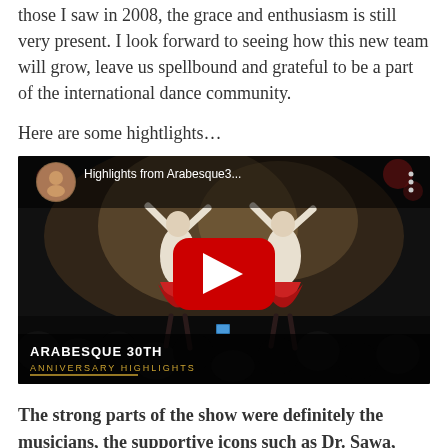those I saw in 2008, the grace and enthusiasm is still very present. I look forward to seeing how this new team will grow, leave us spellbound and grateful to be a part of the international dance community.
Here are some hightlights…
[Figure (screenshot): YouTube video thumbnail showing 'Highlights from Arabesque3…' with dancers in white tops and red skirts performing on stage, audience silhouettes in foreground, red YouTube play button overlay, and text overlay reading 'ARABESQUE 30TH ANNIVERSARY HIGHLIGHTS']
The strong parts of the show were definitely the musicians, the supportive icons such as Dr. Sawa,